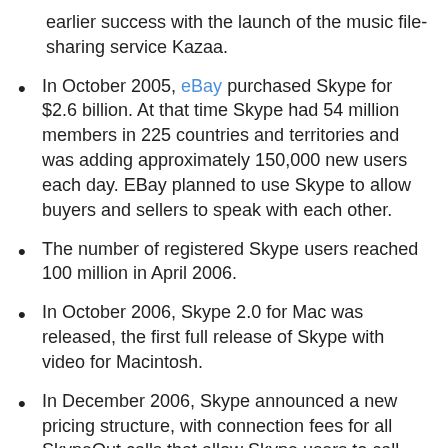earlier success with the launch of the music file-sharing service Kazaa.
In October 2005, eBay purchased Skype for $2.6 billion. At that time Skype had 54 million members in 225 countries and territories and was adding approximately 150,000 new users each day. EBay planned to use Skype to allow buyers and sellers to speak with each other.
The number of registered Skype users reached 100 million in April 2006.
In October 2006, Skype 2.0 for Mac was released, the first full release of Skype with video for Macintosh.
In December 2006, Skype announced a new pricing structure, with connection fees for all SkypeOut calls that allow Skype users to call land-line phones.
Over the next couple of years subscribers continued to grow. In April 2008, Skype had...